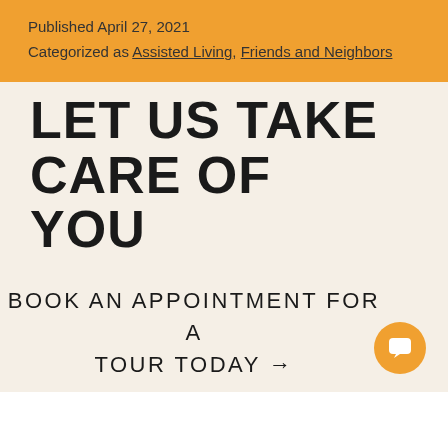Published April 27, 2021
Categorized as Assisted Living, Friends and Neighbors
LET US TAKE CARE OF YOU
BOOK AN APPOINTMENT FOR A TOUR TODAY →
[Figure (illustration): Orange circular chat/messenger button with a white speech bubble icon in the bottom-right corner]